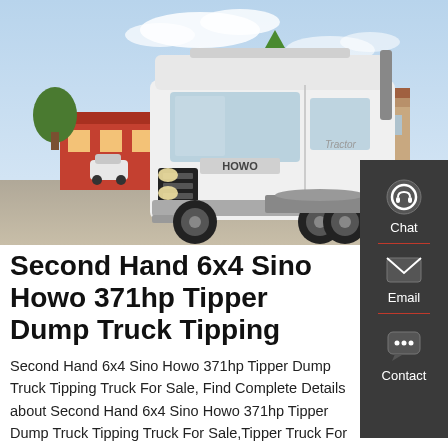[Figure (photo): A white Sino Howo 6x4 heavy-duty truck (tractor unit) parked in a yard in front of commercial buildings. The truck is white with black front details. Red trucks and trees are visible in the background. Clear sky with some clouds.]
Second Hand 6x4 Sino Howo 371hp Tipper Dump Truck Tipping
Second Hand 6x4 Sino Howo 371hp Tipper Dump Truck Tipping Truck For Sale, Find Complete Details about Second Hand 6x4 Sino Howo 371hp Tipper Dump Truck Tipping Truck For Sale,Tipper Truck For Use,Sino Howo 371hp Tipper,Tipping Truck from Dump Trucks Supplier or Manufacturer Shandong